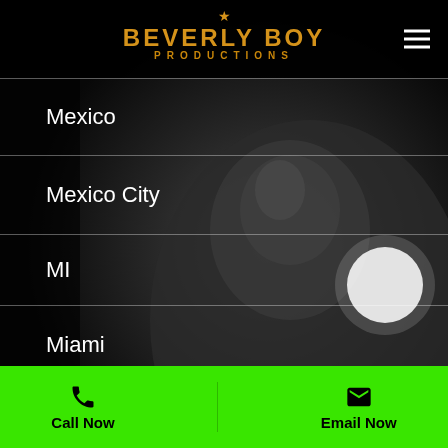Beverly Boy Productions
Mexico
Mexico City
MI
Miami
Miami
Miami-Dade County
Middle East
Middlesex County
Midland County MI
Midland County TX
Call Now | Email Now